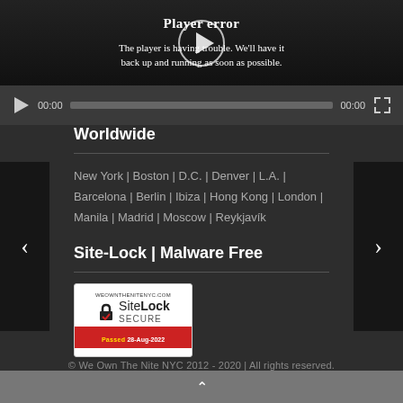[Figure (screenshot): Video player error screen showing a play button circle overlay with error message: 'Player error — The player is having trouble. We'll have it back up and running as soon as possible.' Below is a media controls bar with play button, timecodes 00:00, a progress bar, and fullscreen icon.]
Worldwide
New York | Boston | D.C. | Denver | L.A. | Barcelona | Berlin | Ibiza | Hong Kong | London | Manila | Madrid | Moscow | Reykjavík
Site-Lock | Malware Free
[Figure (logo): SiteLock SECURE badge with text WEOWNTHENITENYC.COM, lock icon with checkmark, SiteLock SECURE label, and Passed 28-Aug-2022 banner in red.]
© We Own The Nite NYC 2012–2020 | All rights reserved.